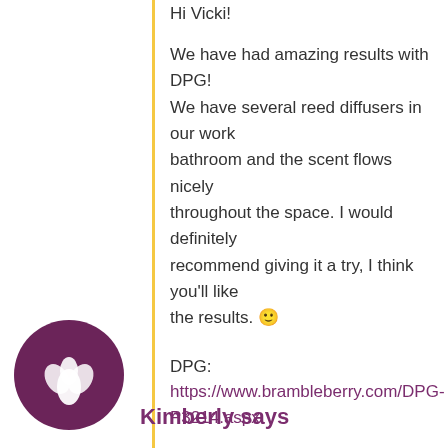Hi Vicki!
We have had amazing results with DPG! We have several reed diffusers in our work bathroom and the scent flows nicely throughout the space. I would definitely recommend giving it a try, I think you’ll like the results. 🙂
DPG: https://www.brambleberry.com/DPG-P3214.aspx
-Kelsey with Bramble Berry
[Figure (illustration): Circular dark purple avatar icon with a white plant/leaf logo inside]
Kimberly says